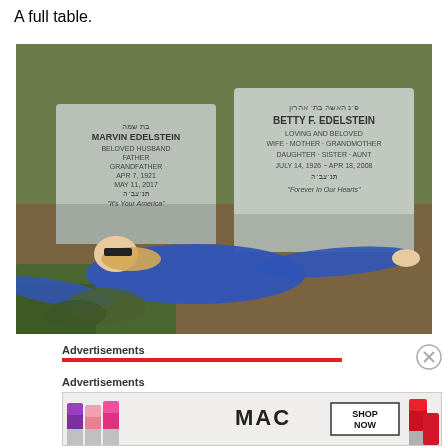A full table.
[Figure (photo): A woman in a blue quilted jacket lying on the ground at a cemetery, reaching toward two grave stones. Left stone reads: MARVIN EDELSTEIN, BELOVED HUSBAND, FATHER, GRANDFATHER, APR 7, 1921 - MAY 11, 2017, 'It's Your America'. Right stone reads: BETTY F. EDELSTEIN, LOVING AND BELOVED, WIFE, MOTHER, GRANDMOTHER, DAUGHTER, SISTER, AUNT, JULY 14, 1926 - APR 18, 2008, 'Forever In Our Hearts'.]
Advertisements
Advertisements
[Figure (screenshot): Advertisement banner for MAC cosmetics showing lipsticks in purple, pink, and red colors with MAC logo and 'SHOP NOW' button.]